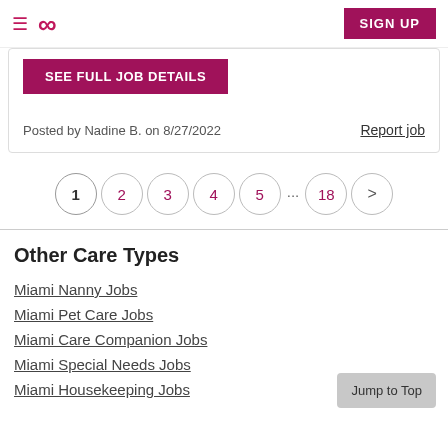≡ ∞ SIGN UP
SEE FULL JOB DETAILS
Posted by Nadine B. on 8/27/2022
Report job
1 2 3 4 5 ... 18 >
Other Care Types
Miami Nanny Jobs
Miami Pet Care Jobs
Miami Care Companion Jobs
Miami Special Needs Jobs
Miami Housekeeping Jobs
Jump to Top